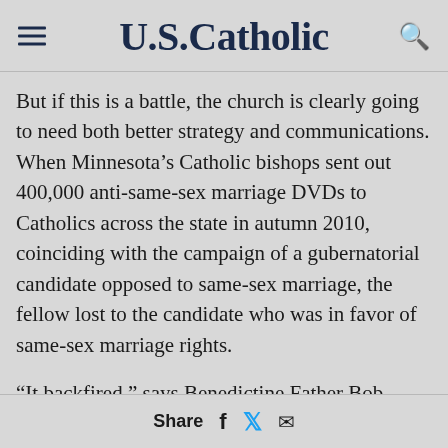U.S.Catholic
But if this is a battle, the church is clearly going to need both better strategy and communications. When Minnesota’s Catholic bishops sent out 400,000 anti-same-sex marriage DVDs to Catholics across the state in autumn 2010, coinciding with the campaign of a gubernatorial candidate opposed to same-sex marriage, the fellow lost to the candidate who was in favor of same-sex marriage rights.
“It backfired,” says Benedictine Father Bob Pierson in Collegeville, Minnesota. “It was seen as hurtful by a lot of people.”
Share